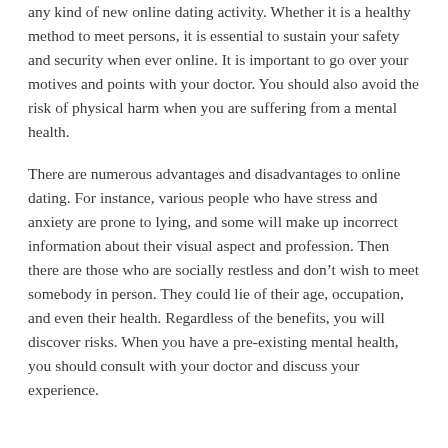any kind of new online dating activity. Whether it is a healthy method to meet persons, it is essential to sustain your safety and security when ever online. It is important to go over your motives and points with your doctor. You should also avoid the risk of physical harm when you are suffering from a mental health.
There are numerous advantages and disadvantages to online dating. For instance, various people who have stress and anxiety are prone to lying, and some will make up incorrect information about their visual aspect and profession. Then there are those who are socially restless and don't wish to meet somebody in person. They could lie of their age, occupation, and even their health. Regardless of the benefits, you will discover risks. When you have a pre-existing mental health, you should consult with your doctor and discuss your experience.